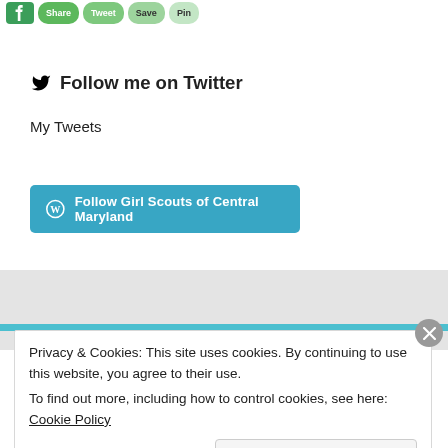[Figure (other): Row of social sharing buttons: Facebook (blue square) followed by several rounded green buttons]
Follow me on Twitter
My Tweets
[Figure (other): WordPress Follow button: blue rounded rectangle with WordPress circle icon and text 'Follow Girl Scouts of Central Maryland']
Privacy & Cookies: This site uses cookies. By continuing to use this website, you agree to their use. To find out more, including how to control cookies, see here: Cookie Policy
Close and accept